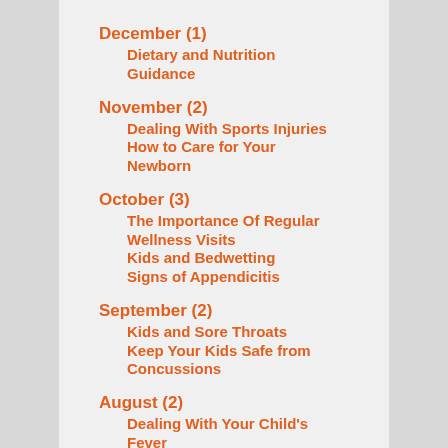December (1)
Dietary and Nutrition Guidance
November (2)
Dealing With Sports Injuries
How to Care for Your Newborn
October (3)
The Importance Of Regular Wellness Visits
Kids and Bedwetting
Signs of Appendicitis
September (2)
Kids and Sore Throats
Keep Your Kids Safe from Concussions
August (2)
Dealing With Your Child's Fever